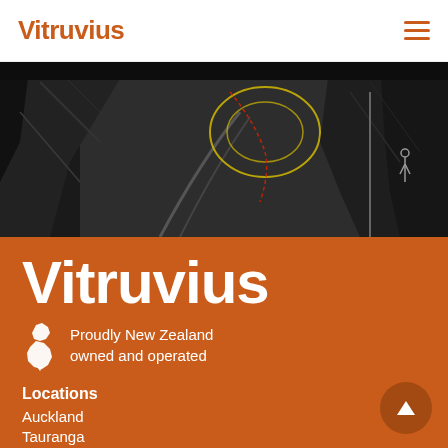Vitruvius
[Figure (photo): Aerial or underground black and white photograph showing curved railway tracks or tunnels with yellow and red circular overlay markings, rocky terrain visible.]
Vitruvius
Proudly New Zealand owned and operated
Locations
Auckland
Tauranga